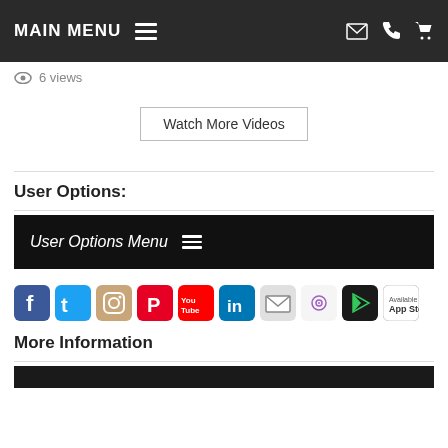MAIN MENU
6 views
Watch More Videos
User Options:
User Options Menu
[Figure (screenshot): Row of social media icons: Facebook, Twitter, Instagram, Pinterest, YouTube, LinkedIn, Email, Podcast, Google Play, App Store]
More Information